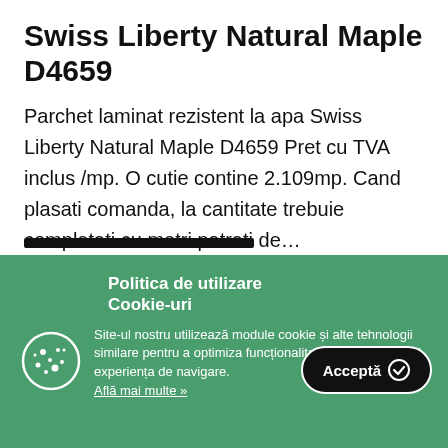Swiss Liberty Natural Maple D4659
Parchet laminat rezistent la apa Swiss Liberty Natural Maple D4659 Pret cu TVA inclus /mp. O cutie contine 2.109mp. Cand plasati comanda, la cantitate trebuie completati cu metri patrati de…
Politica de utilizare Cookie-uri
Site-ul nostru utilizează module cookie și alte tehnologii similare pentru a optimiza funcționalitatea si a îmbunătăți experiența de navigare. Află mai multe »